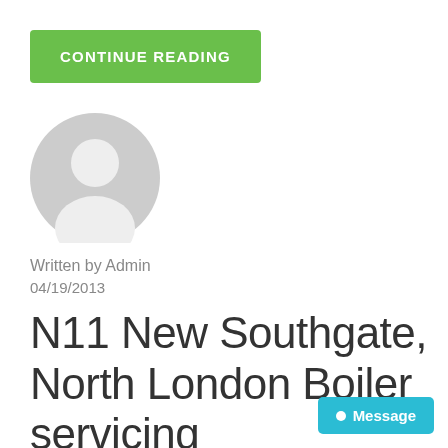CONTINUE READING
[Figure (illustration): Generic grey user avatar placeholder icon — circular silhouette of a person]
Written by Admin
04/19/2013
N11 New Southgate, North London Boiler servicing
Message